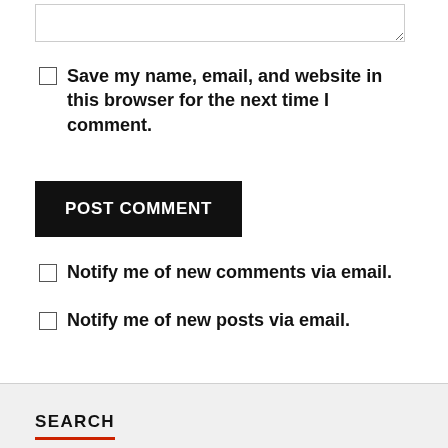[textarea input box]
Save my name, email, and website in this browser for the next time I comment.
POST COMMENT
Notify me of new comments via email.
Notify me of new posts via email.
SEARCH